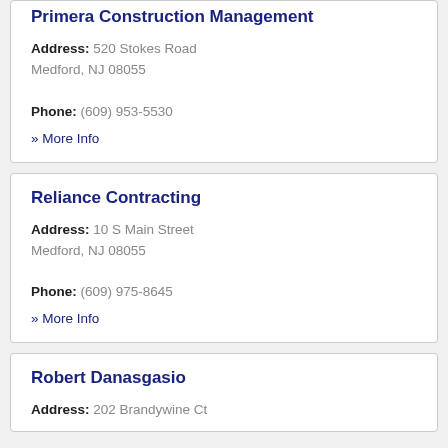Primera Construction Management
Address: 520 Stokes Road Medford, NJ 08055
Phone: (609) 953-5530
» More Info
Reliance Contracting
Address: 10 S Main Street Medford, NJ 08055
Phone: (609) 975-8645
» More Info
Robert Danasgasio
Address: 202 Brandywine Ct